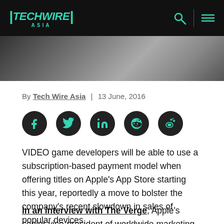TECHWIRE ASIA
[Figure (photo): Dark background hero image strip showing what appears to be electronics or devices at an angle]
By Tech Wire Asia | 13 June, 2016
[Figure (infographic): Social sharing icons row: Facebook, Twitter, LinkedIn, Reddit, Weibo — dark circular buttons with teal icons]
VIDEO game developers will be able to use a subscription-based payment model when offering titles on Apple's App Store starting this year, reportedly a move to bolster the company's recent slowdown in sales of popular devices.
In an interview with The Verge, Apple's senior vice-president of worldwide marketing Phil Schiller